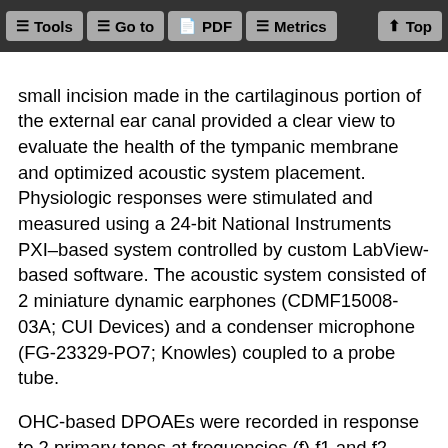Tools  Go to  PDF  Metrics  Top
small incision made in the cartilaginous portion of the external ear canal provided a clear view to evaluate the health of the tympanic membrane and optimized acoustic system placement. Physiologic responses were stimulated and measured using a 24-bit National Instruments PXI–based system controlled by custom LabView-based software. The acoustic system consisted of 2 miniature dynamic earphones (CDMF15008-03A; CUI Devices) and a condenser microphone (FG-23329-PO7; Knowles) coupled to a probe tube.
OHC-based DPOAEs were recorded in response to 2 primary tones at frequencies (f) f1 and f2, with f2 equal to the frequencies used in ABR testing, f2/f1 = 1.2 and levels (L) L2 = L1 – 10 dB. For each